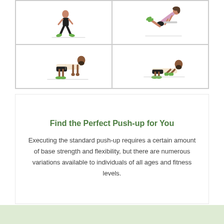[Figure (illustration): 2x2 grid of exercise illustrations showing push-up variations: top-left man standing/lunging, top-right woman in elevated push-up position, bottom-left man in full push-up position, bottom-right man in push-up down position]
Find the Perfect Push-up for You
Executing the standard push-up requires a certain amount of base strength and flexibility, but there are numerous variations available to individuals of all ages and fitness levels.